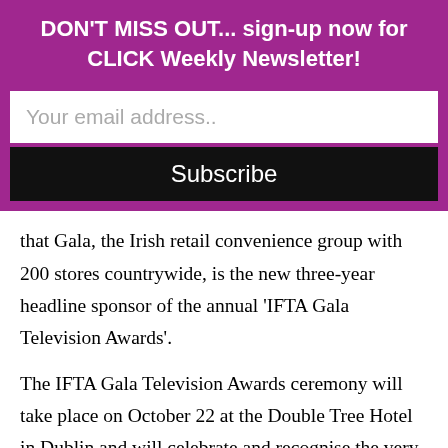DON'T MISS OUT... sign-up now for CLICK Weekly Newsletter!
Your email address..
Subscribe
that Gala, the Irish retail convenience group with 200 stores countrywide, is the new three-year headline sponsor of the annual ‘IFTA Gala Television Awards’.
The IFTA Gala Television Awards ceremony will take place on October 22 at the Double Tree Hotel in Dublin and will celebrate and recognise the very best of Irish creative talent and Irish home-grown TV programming within 23 categories from entertainment, soap and comedy to factual, current affairs and news across all of the Irish broadcasters RTÉ One, RTÉ Two, TV3, 3e, TG4, Sky, UTV and